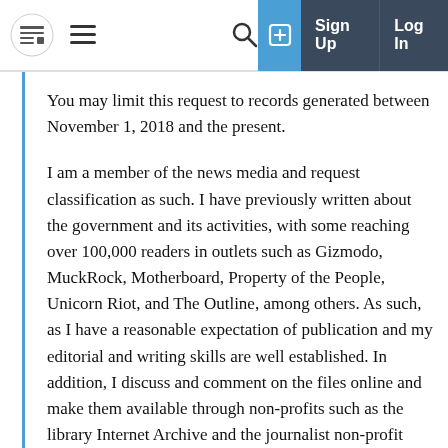MuckRock navigation bar with logo, hamburger menu, search, sign up, and log in
You may limit this request to records generated between November 1, 2018 and the present.
I am a member of the news media and request classification as such. I have previously written about the government and its activities, with some reaching over 100,000 readers in outlets such as Gizmodo, MuckRock, Motherboard, Property of the People, Unicorn Riot, and The Outline, among others. As such, as I have a reasonable expectation of publication and my editorial and writing skills are well established. In addition, I discuss and comment on the files online and make them available through non-profits such as the library Internet Archive and the journalist non-profit MuckRock, disseminating them to a large audience. While my research is not limited to this, a great deal of it, including this, focuses on the activities and attitudes of the government itself. As such, it is not necessary for me to demonstrate the relevance